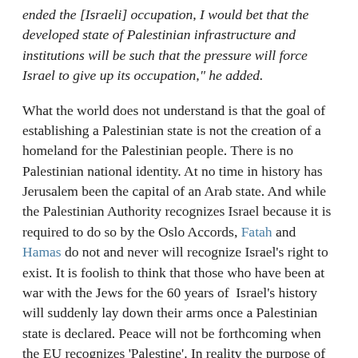ended the [Israeli] occupation, I would bet that the developed state of Palestinian infrastructure and institutions will be such that the pressure will force Israel to give up its occupation," he added.
What the world does not understand is that the goal of establishing a Palestinian state is not the creation of a homeland for the Palestinian people. There is no Palestinian national identity. At no time in history has Jerusalem been the capital of an Arab state. And while the Palestinian Authority recognizes Israel because it is required to do so by the Oslo Accords, Fatah and Hamas do not and never will recognize Israel's right to exist. It is foolish to think that those who have been at war with the Jews for the 60 years of Israel's history will suddenly lay down their arms once a Palestinian state is declared. Peace will not be forthcoming when the EU recognizes 'Palestine'. In reality the purpose of establishing a Palestinian state is to undermine Israel's sovereignty in the